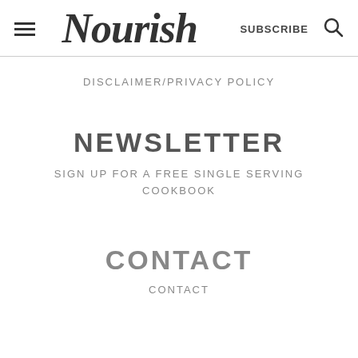Nourish — SUBSCRIBE
DISCLAIMER/PRIVACY POLICY
NEWSLETTER
SIGN UP FOR A FREE SINGLE SERVING COOKBOOK
CONTACT
CONTACT